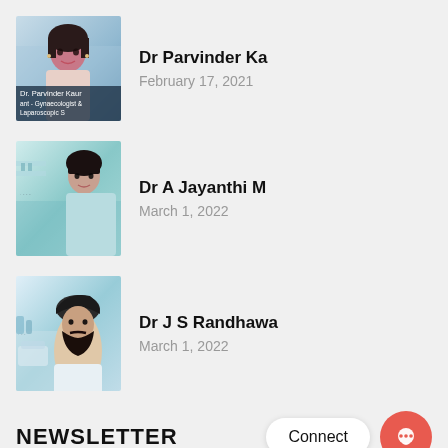[Figure (photo): Photo of Dr. Parvinder Kaur, Gynaecologist & Laparoscopic Surgeon, with caption bar at bottom]
Dr Parvinder Ka
February 17, 2021
[Figure (photo): Photo of Dr. A Jayanthi M in a clinical setting with teal/light blue tones]
Dr A Jayanthi M
March 1, 2022
[Figure (photo): Photo of Dr. J S Randhawa in a clinical setting]
Dr J S Randhawa
March 1, 2022
NEWSLETTER
Subscribe to our newsletter to receive our